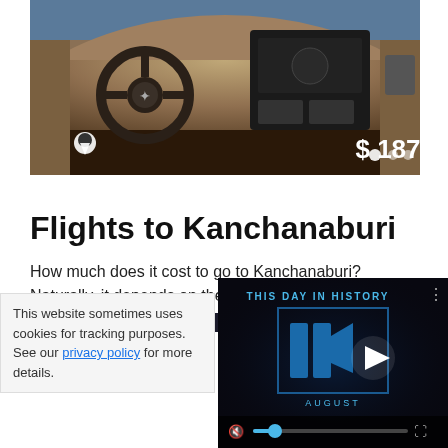[Figure (photo): Car interior dashboard image showing steering wheel and center console with price overlay $187 and navigation dot indicators]
Flights to Kanchanaburi
How much does it cost to go to Kanchanaburi? Naturally, it depends on the dates. We recommend Kayak because they can find the best deals across all airl...
This website sometimes uses cookies for tracking purposes. See our privacy policy for more details.
[Figure (screenshot): Video player overlay showing 'THIS DAY IN HISTORY' with blue stylized logo, play button, AUGUST text, muted audio controls and progress bar]